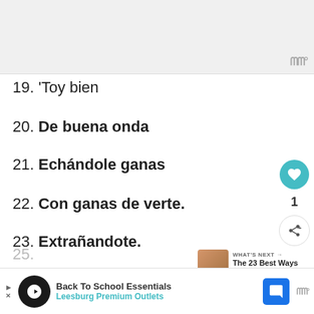[Figure (screenshot): Top advertisement banner placeholder, light gray background with logo watermark in bottom right corner]
19. 'Toy bien
20. De buena onda
21. Echándole ganas
22. Con ganas de verte.
23. Extrañandote.
24. echandote de menos
25. (partially visible)
[Figure (screenshot): Bottom advertisement banner: Back To School Essentials - Leesburg Premium Outlets]
[Figure (infographic): What's Next promo: The 23 Best Ways to...]